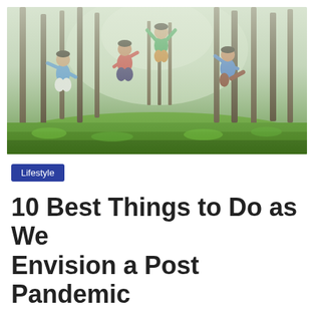[Figure (photo): Children playing and jumping in a lush green forest clearing with tall trees and misty background]
Lifestyle
10 Best Things to Do as We Envision a Post Pandemic Era
July 10, 2021  8 min read  Ahrcelle